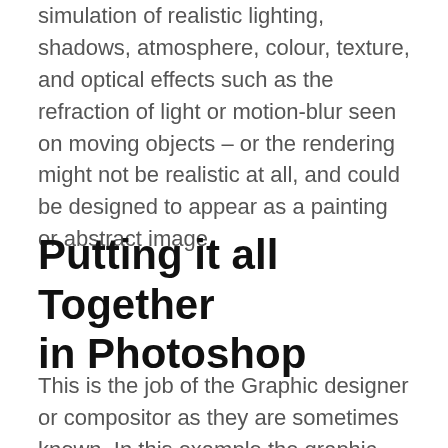and perspective. The rendering could add the simulation of realistic lighting, shadows, atmosphere, colour, texture, and optical effects such as the refraction of light or motion-blur seen on moving objects – or the rendering might not be realistic at all, and could be designed to appear as a painting or abstract image.
Putting it all Together in Photoshop
This is the job of the Graphic designer or compositor as they are sometimes known. In this example the graphic designer was supplied